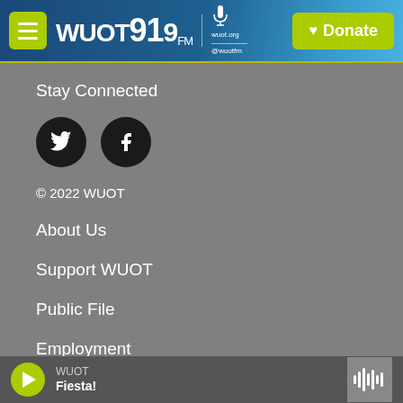WUOT 91.9 FM — wuot.org @wuotfm | Donate
Stay Connected
[Figure (logo): Twitter bird icon in black circle]
[Figure (logo): Facebook f icon in black circle]
© 2022 WUOT
About Us
Support WUOT
Public File
Employment
WUOT — Fiesta!